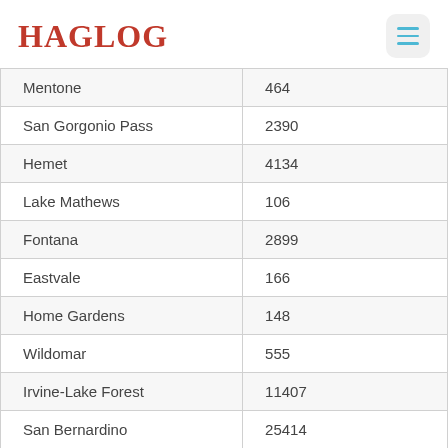HAGLOG
| Mentone | 464 |
| San Gorgonio Pass | 2390 |
| Hemet | 4134 |
| Lake Mathews | 106 |
| Fontana | 2899 |
| Eastvale | 166 |
| Home Gardens | 148 |
| Wildomar | 555 |
| Irvine-Lake Forest | 11407 |
| San Bernardino | 25414 |